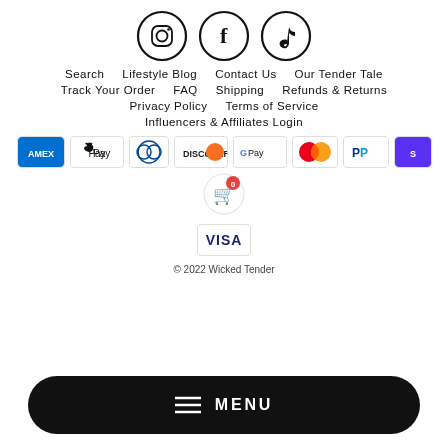[Figure (logo): Three social media icons in circles: Instagram, Facebook, TikTok]
Search   Lifestyle Blog   Contact Us   Our Tender Tale
Track Your Order   FAQ   Shipping   Refunds & Returns
Privacy Policy   Terms of Service
Influencers & Affiliates Login
[Figure (logo): Payment method logos: Amex, Apple Pay, Diners Club, Discover, Google Pay, Mastercard, PayPal, Shop Pay, Visa]
© 2022 Wicked Tender
≡  MENU